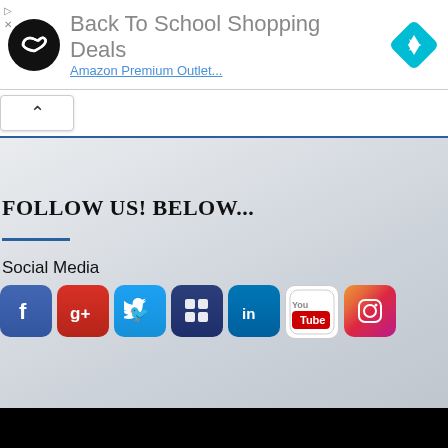[Figure (screenshot): Advertisement banner with circular dark logo with infinity symbol, text 'Back To School Shopping Deals', and a blue diamond arrow icon in the top right corner]
FOLLOW US! BELOW...
Social Media
[Figure (infographic): Row of social media icons: Facebook, Google+, Twitter, Vine/Groups, LinkedIn, YouTube, Instagram]